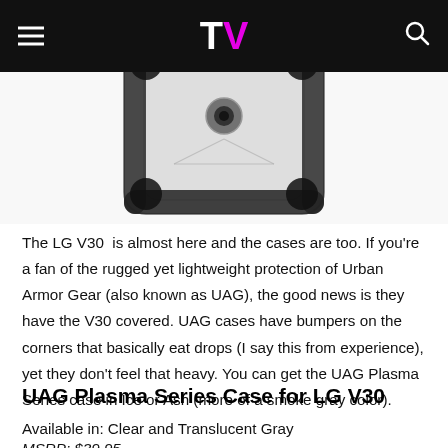TV (logo)
[Figure (photo): UAG Plasma Series case for LG V30 — a rugged phone case with clear/translucent body and black bumper corners, viewed from the back, partially cropped at top.]
The LG V30  is almost here and the cases are too. If you're a fan of the rugged yet lightweight protection of Urban Armor Gear (also known as UAG), the good news is they have the V30 covered. UAG cases have bumpers on the corners that basically eat drops (I say this from experience), yet they don't feel that heavy. You can get the UAG Plasma Series case in Ice or Ash (more of a smoke gray color).
UAG Plasma Series Case for LG V30
Available in: Clear and Translucent Gray
MSRP: $39.95